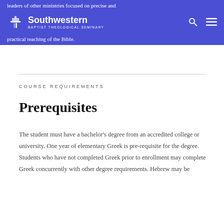leaders of other ministries focused on precise and practical teaching of the Bible.
COURSE REQUIREMENTS
Prerequisites
The student must have a bachelor's degree from an accredited college or university. One year of elementary Greek is pre-requisite for the degree. Students who have not completed Greek prior to enrollment may complete Greek concurrently with other degree requirements. Hebrew may be